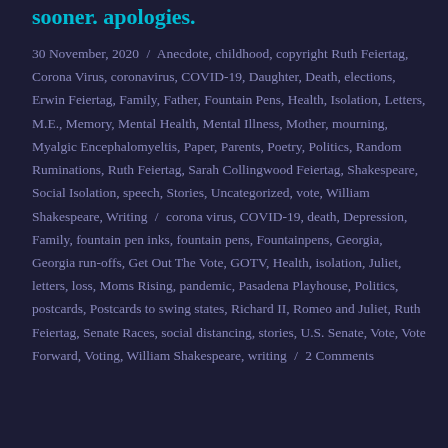sooner. apologies.
30 November, 2020 / Anecdote, childhood, copyright Ruth Feiertag, Corona Virus, coronavirus, COVID-19, Daughter, Death, elections, Erwin Feiertag, Family, Father, Fountain Pens, Health, Isolation, Letters, M.E., Memory, Mental Health, Mental Illness, Mother, mourning, Myalgic Encephalomyeltis, Paper, Parents, Poetry, Politics, Random Ruminations, Ruth Feiertag, Sarah Collingwood Feiertag, Shakespeare, Social Isolation, speech, Stories, Uncategorized, vote, William Shakespeare, Writing / corona virus, COVID-19, death, Depression, Family, fountain pen inks, fountain pens, Fountainpens, Georgia, Georgia run-offs, Get Out The Vote, GOTV, Health, isolation, Juliet, letters, loss, Moms Rising, pandemic, Pasadena Playhouse, Politics, postcards, Postcards to swing states, Richard II, Romeo and Juliet, Ruth Feiertag, Senate Races, social distancing, stories, U.S. Senate, Vote, Vote Forward, Voting, William Shakespeare, writing / 2 Comments